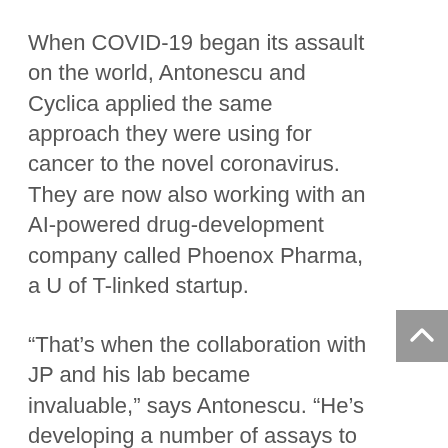When COVID-19 began its assault on the world, Antonescu and Cyclica applied the same approach they were using for cancer to the novel coronavirus. They are now also working with an AI-powered drug-development company called Phoenox Pharma, a U of T-linked startup.
“That’s when the collaboration with JP and his lab became invaluable,” says Antonescu. “He’s developing a number of assays to measure the